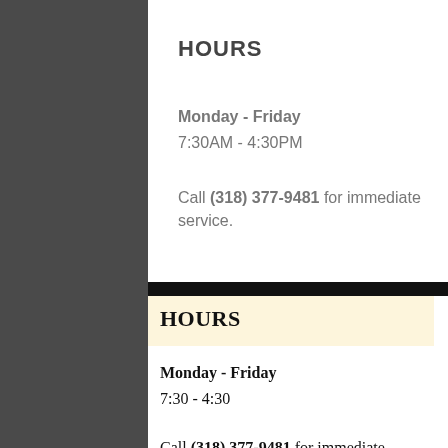HOURS
Monday - Friday
7:30AM - 4:30PM
Call (318) 377-9481 for immediate service.
HOURS
Monday - Friday
7:30 - 4:30
Call (318) 377-9481 for immediate service.